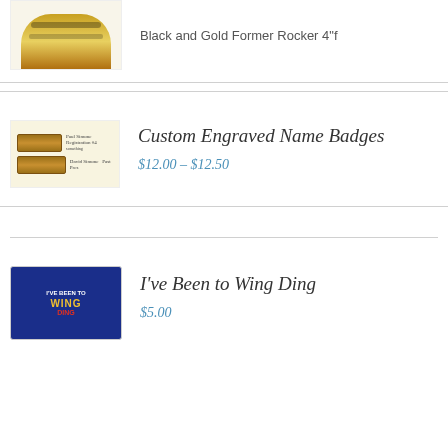[Figure (photo): Partial image of a black and gold rocker/patch item, cropped at top]
Black and Gold Former Rocker 4"f
[Figure (photo): Two custom engraved name badges in gold/brown tones with text fields]
Custom Engraved Name Badges
$12.00 – $12.50
[Figure (photo): Blue patch/pin with Wing Ding text and eagle graphic]
I've Been to Wing Ding
$5.00